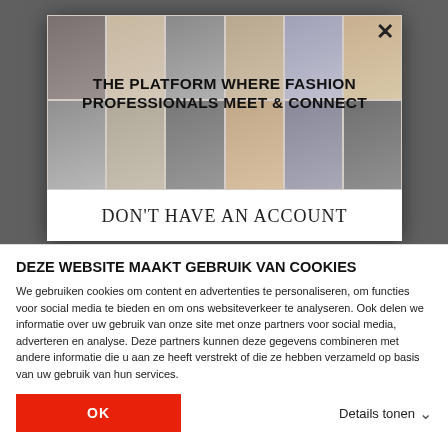[Figure (screenshot): Fashion platform modal overlay showing a grid of fashion professional photos with headline text 'THE PLATFORM WHERE FASHION PROFESSIONALS MEET & CONNECT' and at bottom 'DON'T HAVE AN ACCOUNT']
DEZE WEBSITE MAAKT GEBRUIK VAN COOKIES
We gebruiken cookies om content en advertenties te personaliseren, om functies voor social media te bieden en om ons websiteverkeer te analyseren. Ook delen we informatie over uw gebruik van onze site met onze partners voor social media, adverteren en analyse. Deze partners kunnen deze gegevens combineren met andere informatie die u aan ze heeft verstrekt of die ze hebben verzameld op basis van uw gebruik van hun services.